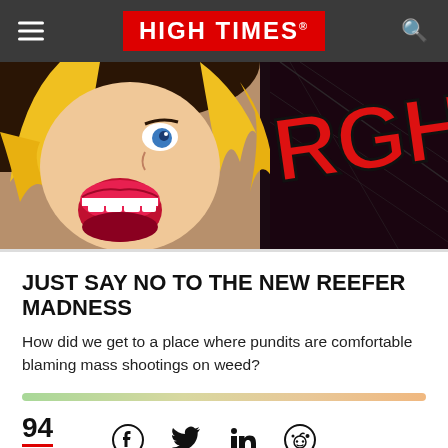HIGH TIMES
[Figure (illustration): Pop-art comic style illustration of a woman with blonde hair, blue eye, open mouth screaming, with large red text 'RGHL!' on a dark background]
JUST SAY NO TO THE NEW REEFER MADNESS
How did we get to a place where pundits are comfortable blaming mass shootings on weed?
[Figure (infographic): Horizontal gradient progress bar from green to tan to orange]
94 Share